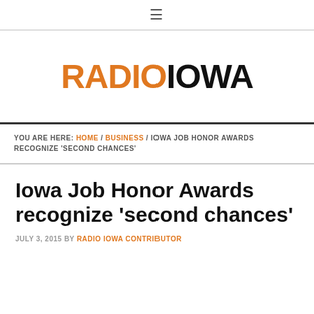≡ (hamburger menu icon)
[Figure (logo): Radio Iowa logo — RADIO in orange, IOWA in black, bold uppercase]
YOU ARE HERE: HOME / BUSINESS / IOWA JOB HONOR AWARDS RECOGNIZE 'SECOND CHANCES'
Iowa Job Honor Awards recognize 'second chances'
JULY 3, 2015 BY RADIO IOWA CONTRIBUTOR